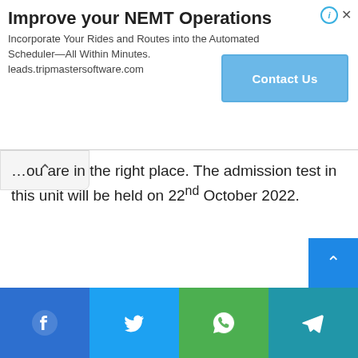[Figure (screenshot): Advertisement banner for NEMT Operations software by leads.tripmastersoftware.com with a 'Contact Us' button]
...ou are in the right place. The admission test in this unit will be held on 22nd October 2022.
[Figure (other): Scroll-to-top button (blue arrow up)]
[Figure (other): Social sharing bar with Facebook, Twitter, WhatsApp, and Telegram icons]